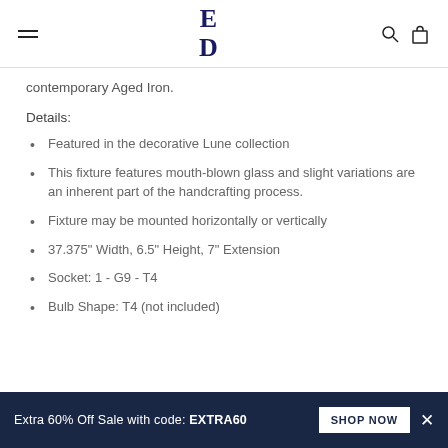ED (logo)
contemporary Aged Iron.
Details:
Featured in the decorative Lune collection
This fixture features mouth-blown glass and slight variations are an inherent part of the handcrafting process.
Fixture may be mounted horizontally or vertically
37.375" Width, 6.5" Height, 7" Extension
Socket: 1 - G9 - T4
Bulb Shape: T4 (not included)
Extra 60% Off Sale with code: EXTRA60   SHOP NOW   X